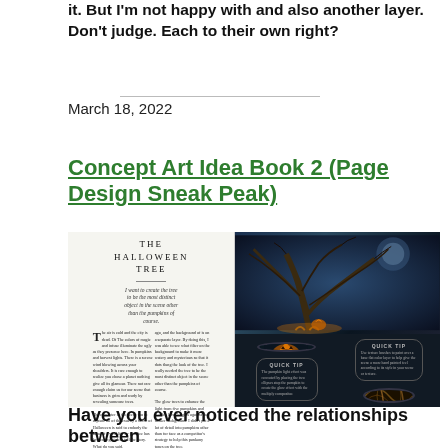it. But I'm not happy with and also another layer. Don't judge. Each to their own right?
March 18, 2022
Concept Art Idea Book 2 (Page Design Sneak Peak)
[Figure (illustration): A two-page book spread showing 'The Halloween Tree' layout on the left with text columns and drop cap, and a dramatic photo of a glowing Halloween tree against a dark blue sky on the right, with circular inset images and quick tip boxes.]
Have you ever noticed the relationships between